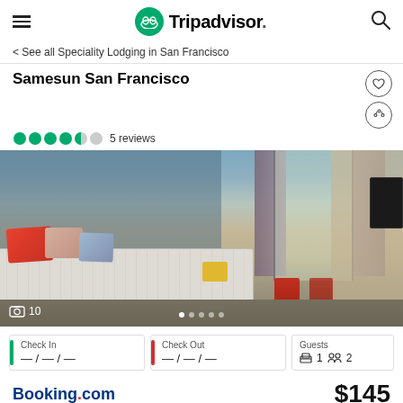Tripadvisor
< See all Speciality Lodging in San Francisco
Samesun San Francisco
5 reviews
[Figure (photo): Hotel room photo showing a bed with red and patterned pillows, a window with curtains, red chairs and a table, carpet floor. Photo count indicator shows 10 photos.]
Check In — / — / —
Check Out — / — / —
Guests 1 bed 2 persons
Booking.com
$145